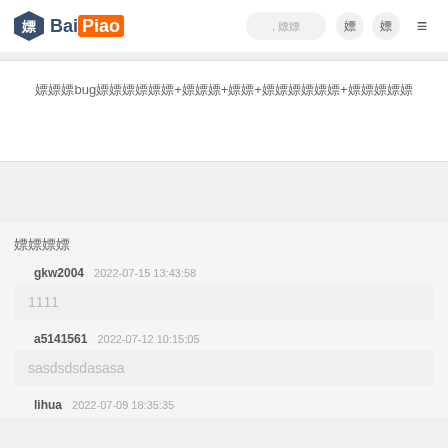嫖 BaiPiao
嫖嫖嫖bug嫖嫖嫖嫖嫖嫖+嫖嫖嫖+嫖嫖+嫖嫖嫖嫖嫖嫖+嫖嫖嫖嫖嫖
嫖嫖嫖嫖
gkw2004   2022-07-15 13:43:58
1111
a5141561   2022-07-12 10:15:05
sasdsdsdasasa
lihua   2022-07-09 18:35:35